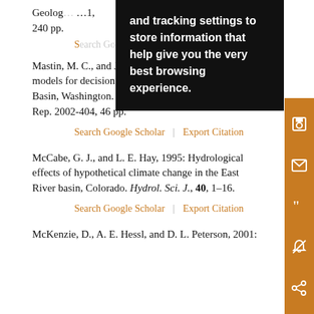Geological Survey Open-File Rep., 240 pp.
Search Google Scholar | Export Citation
Mastin, M. C., and J. J. Vaccaro, 2002: Watershed models for decision support in the Yakima River Basin, Washington. U.S. Geological Survey Open-File Rep. 2002-404, 46 pp.
Search Google Scholar | Export Citation
McCabe, G. J., and L. E. Hay, 1995: Hydrological effects of hypothetical climate change in the East River basin, Colorado. Hydrol. Sci. J., 40, 1–16.
Search Google Scholar | Export Citation
McKenzie, D., A. E. Hessl, and D. L. Peterson, 2001: